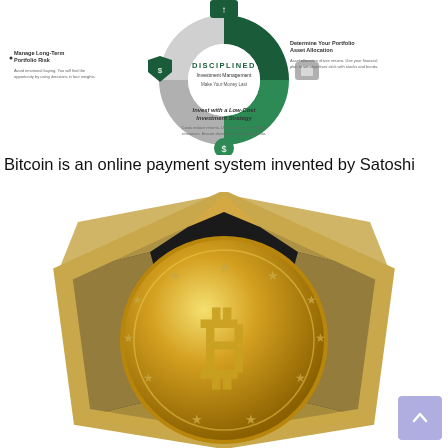[Figure (infographic): Circular infographic for 'Disciplined Investment Management – Make Your Money Last' with sections: Manage Long-Term Portfolio Risk, Determine Your Portfolio Asset Allocation, Invest with a Low-Cost Investment Strategy. Green and grey donut-style chart with icons.]
Bitcoin is an online payment system invented by Satoshi
[Figure (illustration): Gold and black Bitcoin coin/medal illustration with stars and the Bitcoin B symbol, shown from above at an angle with a 3D perspective.]